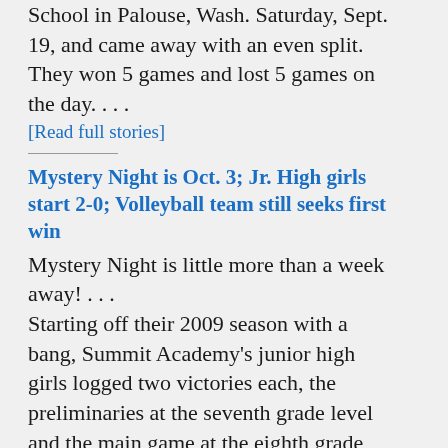School in Palouse, Wash. Saturday, Sept. 19, and came away with an even split. They won 5 games and lost 5 games on the day. . . . [Read full stories]
Mystery Night is Oct. 3; Jr. High girls start 2-0; Volleyball team still seeks first win
Mystery Night is little more than a week away! . . . Starting off their 2009 season with a bang, Summit Academy's junior high girls logged two victories each, the preliminaries at the seventh grade level and the main game at the eighth grade level. . . .